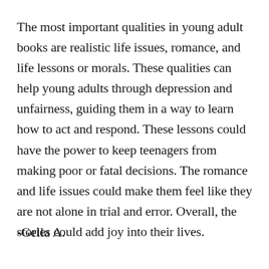The most important qualities in young adult books are realistic life issues, romance, and life lessons or morals. These qualities can help young adults through depression and unfairness, guiding them in a way to learn how to act and respond. These lessons could have the power to keep teenagers from making poor or fatal decisions. The romance and life issues could make them feel like they are not alone in trial and error. Overall, the stories could add joy into their lives.
-Gella A.